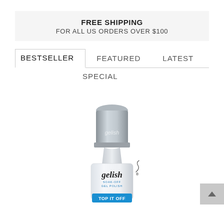FREE SHIPPING
FOR ALL US ORDERS OVER $100
BESTSELLER
FEATURED
LATEST
SPECIAL
[Figure (photo): Gelish Soak-Off Gel Polish bottle labeled 'TOP IT OFF' with silver cap and white body]